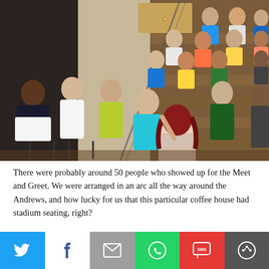[Figure (photo): A group of approximately 50 people arranged in an arc and on stadium-style wooden bleacher steps inside a coffee house venue. A woman with red hair is seen from behind, apparently speaking or presenting to the group. People are seated on chairs and on the wooden steps. A painting of horses is visible on the wall in the background.]
There were probably around 50 people who showed up for the Meet and Greet. We were arranged in an arc all the way around the Andrews, and how lucky for us that this particular coffee house had stadium seating, right?